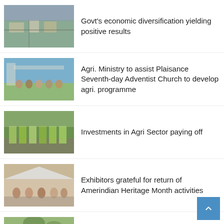[Figure (photo): Aerial view of a town with roads and buildings]
Govt's economic diversification yielding positive results
[Figure (photo): Group of people gathered outdoors at an agricultural event]
Agri. Ministry to assist Plaisance Seventh-day Adventist Church to develop agri. programme
[Figure (photo): Rows of crops growing in a greenhouse or agricultural plot]
Investments in Agri Sector paying off
[Figure (photo): People gathered under a tent at Amerindian Heritage Month activities]
Exhibitors grateful for return of Amerindian Heritage Month activities
[Figure (photo): Outdoor scene with trees and possibly fitness or heritage event]
Fitness, good health show our resilience – Min Sukhai